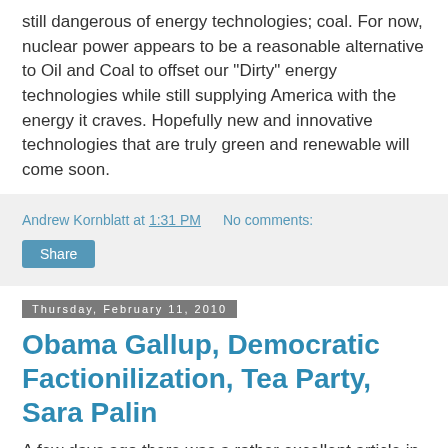still dangerous of energy technologies; coal. For now, nuclear power appears to be a reasonable alternative to Oil and Coal to offset our "Dirty" energy technologies while still supplying America with the energy it craves. Hopefully new and innovative technologies that are truly green and renewable will come soon.
Andrew Kornblatt at 1:31 PM   No comments:
Share
Thursday, February 11, 2010
Obama Gallup, Democratic Factionilization, Tea Party, Sara Palin
A few days ago there was a rather excellent article in on Slate.com. It mirrored a few frustrations I have been having with the American public as a whole. The impatience that many in the middle class have with the pace of the stimulus and the nature of their demands on the government: